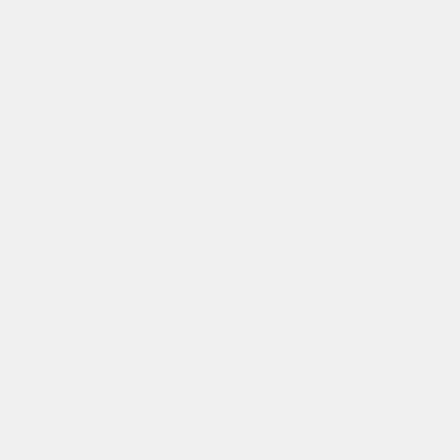Michigan. The Detroit Water and Sewerage Department has been disconnecting water services from households which have not paid bills for two months, and